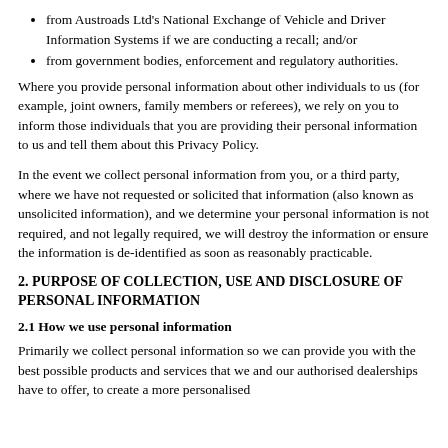from Austroads Ltd's National Exchange of Vehicle and Driver Information Systems if we are conducting a recall; and/or
from government bodies, enforcement and regulatory authorities.
Where you provide personal information about other individuals to us (for example, joint owners, family members or referees), we rely on you to inform those individuals that you are providing their personal information to us and tell them about this Privacy Policy.
In the event we collect personal information from you, or a third party, where we have not requested or solicited that information (also known as unsolicited information), and we determine your personal information is not required, and not legally required, we will destroy the information or ensure the information is de-identified as soon as reasonably practicable.
2. PURPOSE OF COLLECTION, USE AND DISCLOSURE OF PERSONAL INFORMATION
2.1 How we use personal information
Primarily we collect personal information so we can provide you with the best possible products and services that we and our authorised dealerships have to offer, to create a more personalised